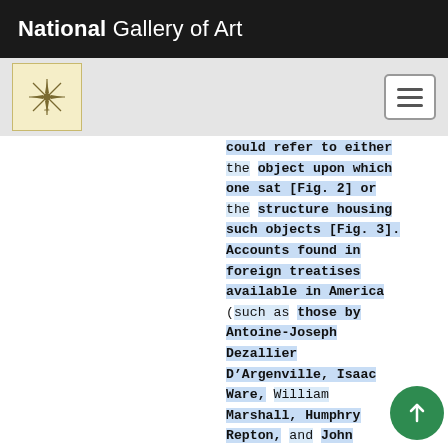National Gallery of Art
could refer to either the object upon which one sat [Fig. 2] or the structure housing such objects [Fig. 3]. Accounts found in foreign treatises available in America (such as those by Antoine-Joseph Dezallier D’Argenville, Isaac Ware, William Marshall, Humphry Repton, and John Abercrombie) focus on seats as places of rest, terminations to